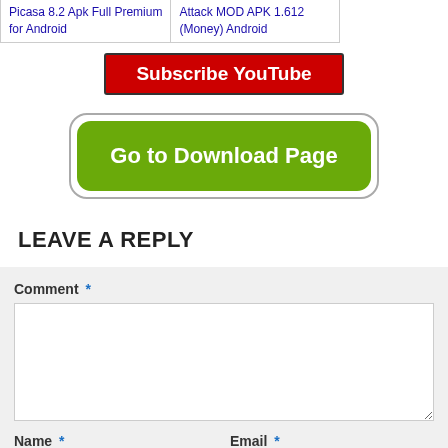Picasa 8.2 Apk Full Premium for Android
Attack MOD APK 1.612 (Money) Android
[Figure (screenshot): Red Subscribe YouTube button]
[Figure (screenshot): Green Go to Download Page button]
LEAVE A REPLY
Comment *
Name *
Email *